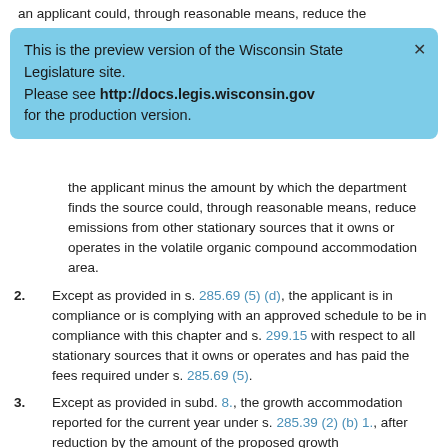an applicant could, through reasonable means, reduce the
This is the preview version of the Wisconsin State Legislature site. Please see http://docs.legis.wisconsin.gov for the production version.
the applicant minus the amount by which the department finds the source could, through reasonable means, reduce emissions from other stationary sources that it owns or operates in the volatile organic compound accommodation area.
2. Except as provided in s. 285.69 (5) (d), the applicant is in compliance or is complying with an approved schedule to be in compliance with this chapter and s. 299.15 with respect to all stationary sources that it owns or operates and has paid the fees required under s. 285.69 (5).
3. Except as provided in subd. 8., the growth accommodation reported for the current year under s. 285.39 (2) (b) 1., after reduction by the amount of the proposed growth accommodation credit and any growth accommodation credits issued since the date of the report, is greater than 2,500 tons.
4. If the growth accommodation reported for the current year under s. 285.39 (2) (b) 1., less a reduction by the amount of any growth accommodation credits issued since the